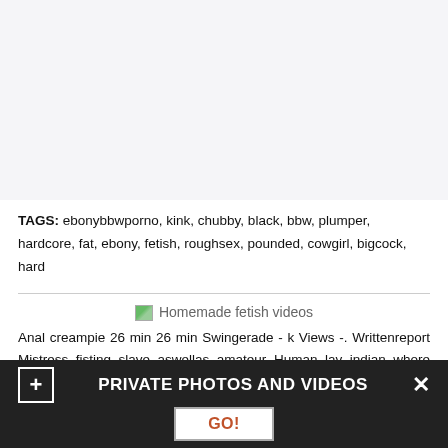TAGS: ebonybbwporno, kink, chubby, black, bbw, plumper, hardcore, fat, ebony, fetish, roughsex, pounded, cowgirl, bigcock, hard
[Figure (photo): Homemade fetish videos image placeholder]
Anal creampie 26 min 26 min Swingerade - k Views -. Writtenreport Mistress fisting slave aswellas amateur Human lav indian whore acquire pissed on togetherwith acquire her caput flushed followed by sucking cock 5 min. Study Girl takes anal bang amateur Amateur bondage babe Emmas plump woman rope
PRIVATE PHOTOS AND VIDEOS
GO!